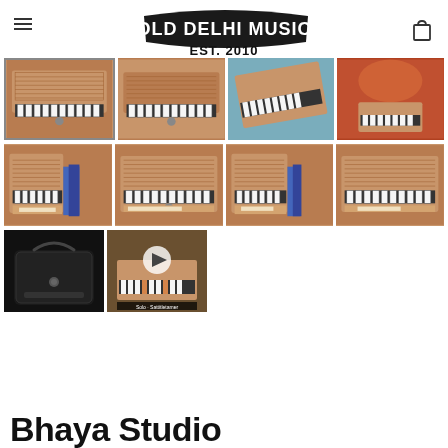OLD DELHI MUSIC EST. 2010
[Figure (photo): Product thumbnail grid showing harmonium instruments from multiple angles, a carrying bag, and a video thumbnail with play button]
Bhaya Studio